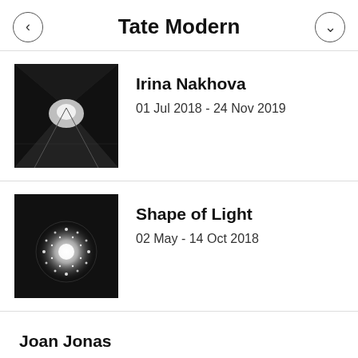Tate Modern
Irina Nakhova
01 Jul 2018 - 24 Nov 2019
Shape of Light
02 May - 14 Oct 2018
Joan Jonas
14 Mar - 05 Aug 2018
Picasso 1932
08 Mar - 09 Sep 2018